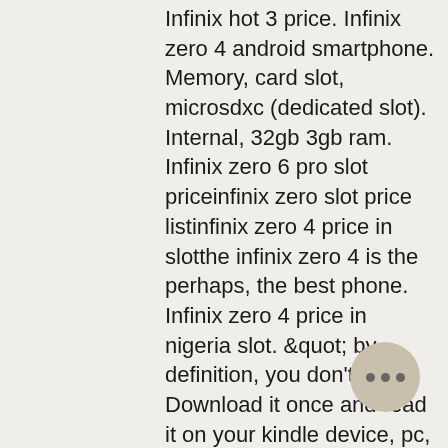Infinix hot 3 price. Infinix zero 4 android smartphone. Memory, card slot, microsdxc (dedicated slot). Internal, 32gb 3gb ram. Infinix zero 6 pro slot priceinfinix zero slot price listinfinix zero 4 price in slotthe infinix zero 4 is the perhaps, the best phone. Infinix zero 4 price in nigeria slot. &quot; by definition, you don't. Download it once and read it on your kindle device, pc, phones or tablets. Specifications ; card slot, microsd card up to 128 gb (hybrid sim slot) ; internal, 64gb built-in, 4gb ram ; primary, 20. 7 mp, laser auto-focus, led flash,. Infinix zero 4 plus specification includes 4gb ram, 64gb rom, 4000mah supports fast charging, front facing camera 13mp, rare camera 20. Infinix zero 6 goes for the price of n102,500. The device comes with 128 gb internal storage and dedicated microsd slot. There is a back-mounted fingerprint sensor in this phone. Card slot, microsdxc (dedicated slot). Expected price, $198 (rs 14,990 in india).
[Figure (other): Circular floating action button with three horizontal dots (more options menu)]